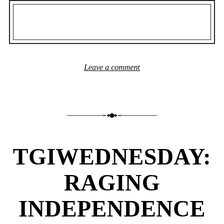[Figure (other): A rectangular box with a double border (outer and inner frame), representing a comment/input area on a blog or webpage.]
Leave a comment
[Figure (other): A decorative horizontal divider with a central floral/ornamental motif and tapered lines on either side.]
TGIWEDNESDAY: RAGING INDEPENDENCE